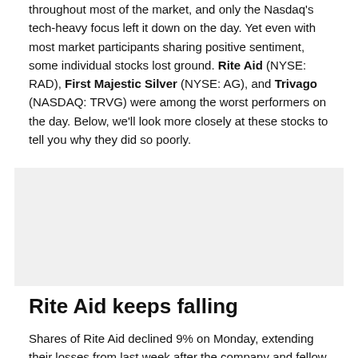throughout most of the market, and only the Nasdaq's tech-heavy focus left it down on the day. Yet even with most market participants sharing positive sentiment, some individual stocks lost ground. Rite Aid (NYSE: RAD), First Majestic Silver (NYSE: AG), and Trivago (NASDAQ: TRVG) were among the worst performers on the day. Below, we'll look more closely at these stocks to tell you why they did so poorly.
[Figure (other): Advertisement or placeholder box with light gray background]
Rite Aid keeps falling
Shares of Rite Aid declined 9% on Monday, extending their losses from last week after the company and fellow drugstore chain giant Walgreens Boots Alliance (NASDAQ: WBA) announced that they would downgrade their